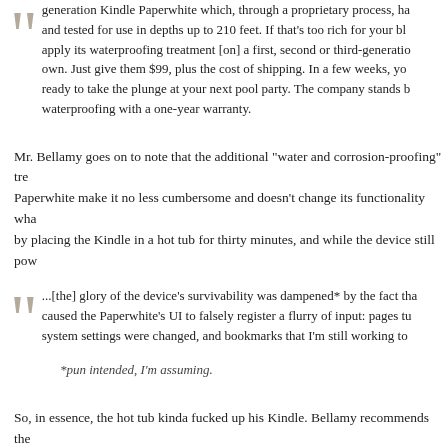generation Kindle Paperwhite which, through a proprietary process, ha and tested for use in depths up to 210 feet. If that's too rich for your bl apply its waterproofing treatment [on] a first, second or third-generation own. Just give them $99, plus the cost of shipping. In a few weeks, yo ready to take the plunge at your next pool party. The company stands b waterproofing with a one-year warranty.
Mr. Bellamy goes on to note that the additional "water and corrosion-proofing" tre Paperwhite make it no less cumbersome and doesn't change its functionality wha by placing the Kindle in a hot tub for thirty minutes, and while the device still pow
...[the] glory of the device's survivability was dampened* by the fact tha caused the Paperwhite's UI to falsely register a flurry of input: pages tu system settings were changed, and bookmarks that I'm still working to
*pun intended, I'm assuming.
So, in essence, the hot tub kinda fucked up his Kindle. Bellamy recommends the whoopsie jacuzzi protection, but I would imagine most folks won't have to worry m I mean, unless you frequently hardcore fall asleep in the tub, at which point my a specialist, because that shit is dangerous. Still, the Kobo iteration of this tech is s of this writing for $159.99), and if you haven't yet built a digital library with Amaz take. However, if you're in the opposite camp and you want a device that will hav your water-romping summer plans, you could either shell out the bucks for the